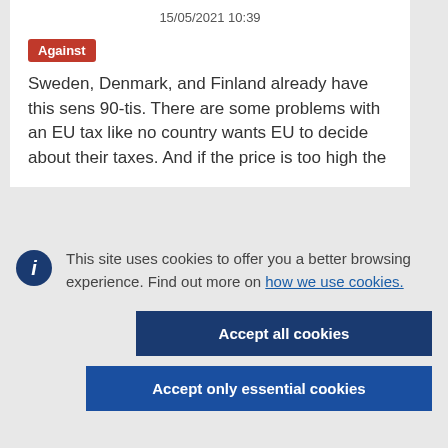15/05/2021 10:39
Against
Sweden, Denmark, and Finland already have this sens 90-tis. There are some problems with an EU tax like no country wants EU to decide about their taxes. And if the price is too high the
This site uses cookies to offer you a better browsing experience. Find out more on how we use cookies.
Accept all cookies
Accept only essential cookies